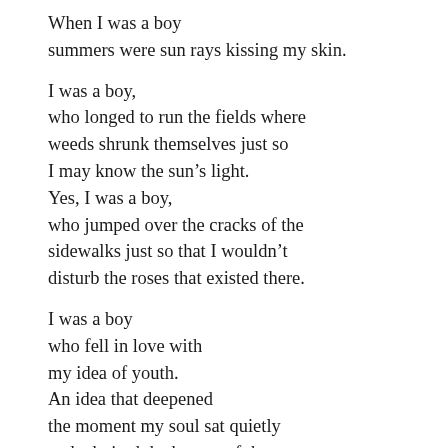When I was a boy
summers were sun rays kissing my skin.

I was a boy,
who longed to run the fields where
weeds shrunk themselves just so
I may know the sun’s light.
Yes, I was a boy,
who jumped over the cracks of the
sidewalks just so that I wouldn’t
disturb the roses that existed there.

I was a boy
who fell in love with
my idea of youth.
An idea that deepened
the moment my soul sat quietly
and admired the beauty of the sta…